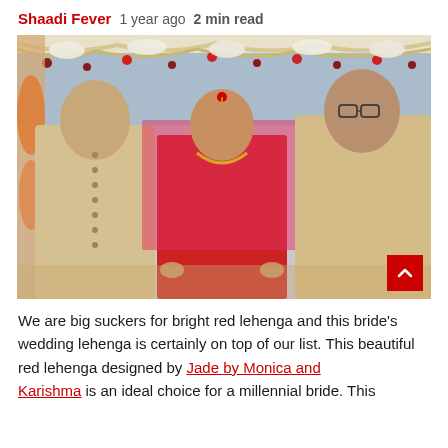Shaadi Fever   1 year ago   2 min read
[Figure (photo): Indian wedding photo showing a bride in red lehenga flanked by two men in beige sherwanis under a floral mandap decoration]
We are big suckers for bright red lehenga and this bride's wedding lehenga is certainly on top of our list. This beautiful red lehenga designed by Jade by Monica and Karishma is an ideal choice for a millennial bride. This